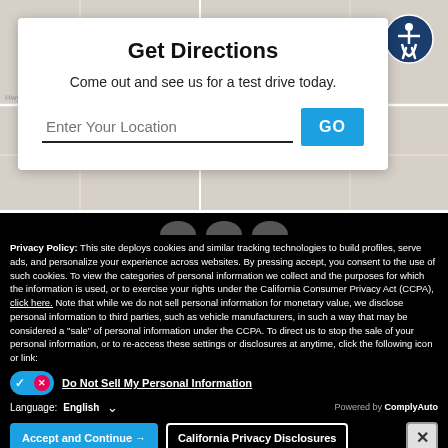[Figure (screenshot): Map background showing street map]
Get Directions
Come out and see us for a test drive today.
Enter Your Location  GO
Privacy Policy: This site deploys cookies and similar tracking technologies to build profiles, serve ads, and personalize your experience across websites. By pressing accept, you consent to the use of such cookies. To view the categories of personal information we collect and the purposes for which the information is used, or to exercise your rights under the California Consumer Privacy Act (CCPA), click here. Note that while we do not sell personal information for monetary value, we disclose personal information to third parties, such as vehicle manufacturers, in such a way that may be considered a "sale" of personal information under the CCPA. To direct us to stop the sale of your personal information, or to re-access these settings or disclosures at anytime, click the following icon or link:
Do Not Sell My Personal Information
Language: English  Powered by ComplyAuto
Accept and Continue →    California Privacy Disclosures